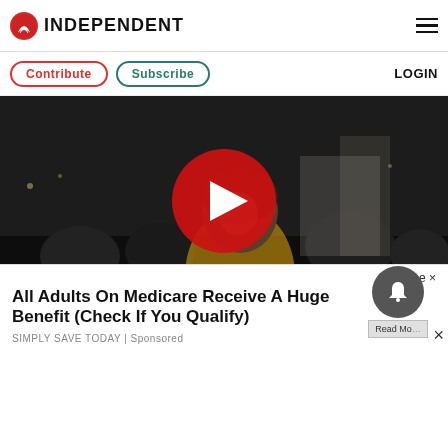INDEPENDENT
Contribute | Subscribe | LOGIN
[Figure (photo): Video thumbnail showing a woman with glasses wearing a yellow top in a nighttime crowd, with a large red circular play button overlay]
Close ×
All Adults On Medicare Receive A Huge Benefit (Check If You Qualify)
SIMPLY SAVE TODAY | Sponsored